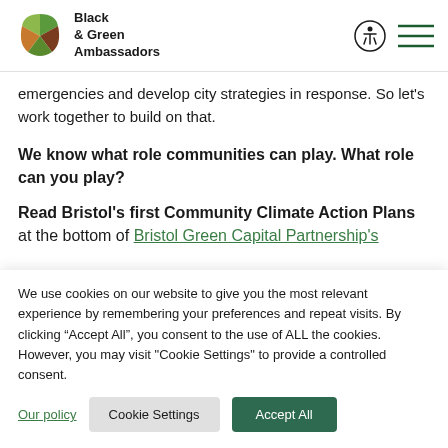Black & Green Ambassadors
emergencies and develop city strategies in response. So let's work together to build on that.
We know what role communities can play. What role can you play?
Read Bristol's first Community Climate Action Plans at the bottom of Bristol Green Capital Partnership's
We use cookies on our website to give you the most relevant experience by remembering your preferences and repeat visits. By clicking “Accept All”, you consent to the use of ALL the cookies. However, you may visit "Cookie Settings" to provide a controlled consent.
Our policy | Cookie Settings | Accept All